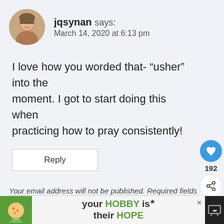[Figure (photo): Round avatar photo of a smiling woman]
jqsynan says:
March 14, 2020 at 6:13 pm
I love how you worded that- “usher” into the moment. I got to start doing this when practicing how to pray consistently!
Reply
[Figure (infographic): Heart icon button (blue circle) with like count 192 and share icon below]
Leave a Reply
[Figure (photo): What's Next panel with thumbnail image of a cross at sunset and text: WHAT'S NEXT -> 5 Keys to Effective...]
Your email address will not be published. Required fields
[Figure (infographic): Bottom advertisement banner: cookies for kids cancer logo, 'your HOBBY is their HOPE' text, close button, and TV icon]